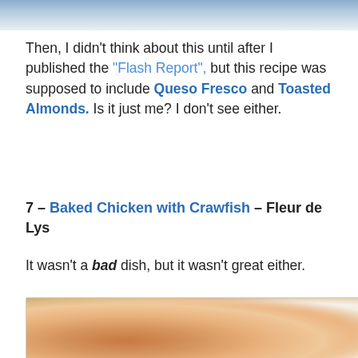[Figure (photo): Top portion of a food photo, partially cropped — appears to show a blurred or sky-like background]
Then, I didn't think about this until after I published the "Flash Report", but this recipe was supposed to include Queso Fresco and Toasted Almonds.  Is it just me?  I don't see either.
7 – Baked Chicken with Crawfish – Fleur de Lys
It wasn't a bad dish, but it wasn't great either.
[Figure (photo): Photo of baked chicken with crawfish in a brown cardboard take-out box, served with white rice on the right side. The chicken pieces are coated in an orange-brown sauce.]